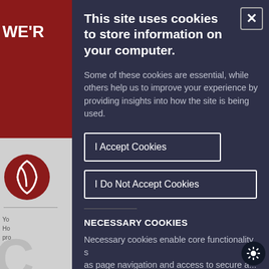[Figure (screenshot): Background website content partially visible behind cookie consent modal, showing red header bar with 'WE'R' text, a circular logo, and gray page content]
This site uses cookies to store information on your computer.
Some of these cookies are essential, while others help us to improve your experience by providing insights into how the site is being used.
I Accept Cookies
I Do Not Accept Cookies
NECESSARY COOKIES
Necessary cookies enable core functionality such as page navigation and access to secure a...